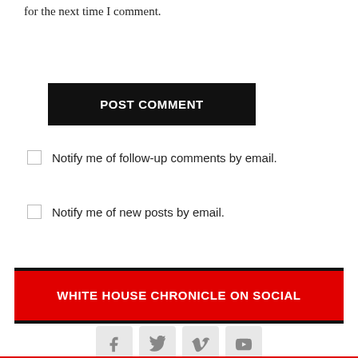for the next time I comment.
POST COMMENT
Notify me of follow-up comments by email.
Notify me of new posts by email.
WHITE HOUSE CHRONICLE ON SOCIAL
[Figure (other): Social media icons: Facebook, Twitter, Vimeo, YouTube]